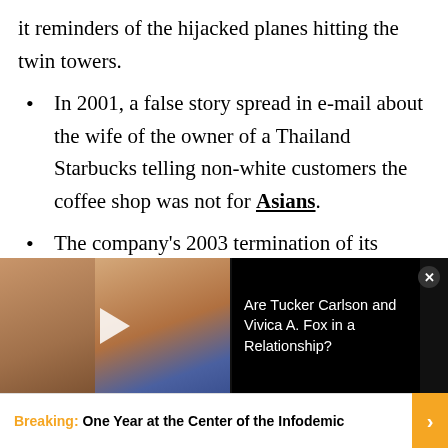it reminders of the hijacked planes hitting the twin towers.
In 2001, a false story spread in e-mail about the wife of the owner of a Thailand Starbucks telling non-white customers the coffee shop was not for Asians.
The company's 2003 termination of its business interests in Israel caused some to believe Starbucks had abandoned that
[Figure (photo): Video ad thumbnail showing two people (a woman and a man) with a play button overlay, beside a black panel with text 'Are Tucker Carlson and Vivica A. Fox in a Relationship?' and a close button]
[Figure (infographic): Bottom advertisement banner: 'Breaking: One Year at the Center of the Infodemic' with orange close button and orange arrow]